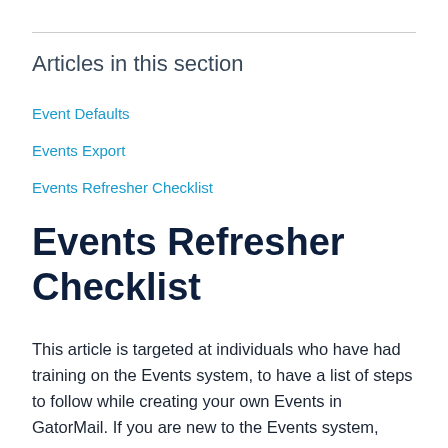Articles in this section
Event Defaults
Events Export
Events Refresher Checklist
Events Refresher Checklist
This article is targeted at individuals who have had training on the Events system, to have a list of steps to follow while creating your own Events in GatorMail. If you are new to the Events system,